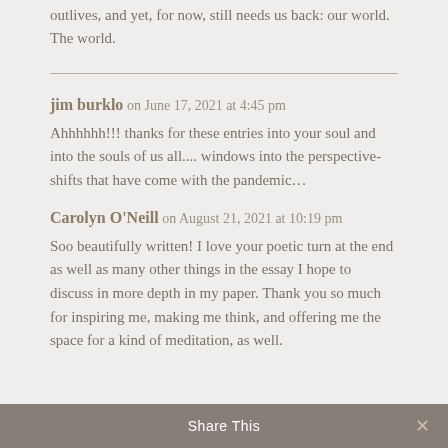outlives, and yet, for now, still needs us back: our world. The world.
jim burklo on June 17, 2021 at 4:45 pm
Ahhhhhh!!! thanks for these entries into your soul and into the souls of us all.... windows into the perspective-shifts that have come with the pandemic...
Carolyn O'Neill on August 21, 2021 at 10:19 pm
Soo beautifully written! I love your poetic turn at the end as well as many other things in the essay I hope to discuss in more depth in my paper. Thank you so much for inspiring me, making me think, and offering me the space for a kind of meditation, as well.
Share This